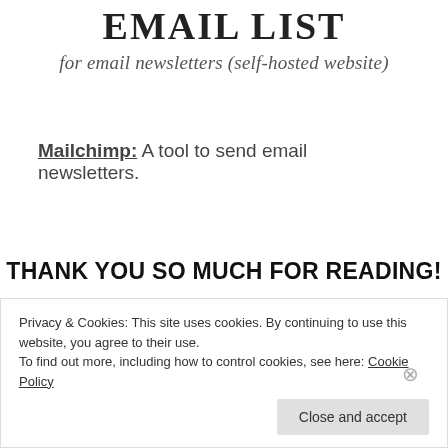EMAIL LIST
for email newsletters (self-hosted website)
Mailchimp: A tool to send email newsletters.
THANK YOU SO MUCH FOR READING!
xo N
Privacy & Cookies: This site uses cookies. By continuing to use this website, you agree to their use.
To find out more, including how to control cookies, see here: Cookie Policy